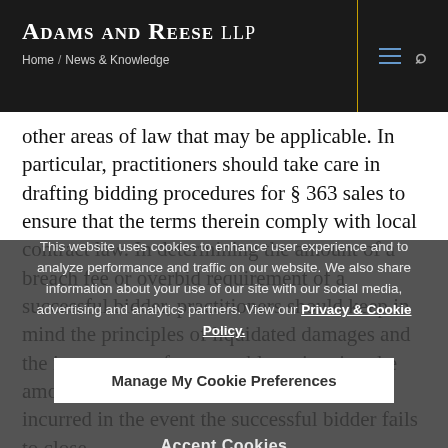Adams and Reese LLP
Home / News & Knowledge
other areas of law that may be applicable. In particular, practitioners should take care in drafting bidding procedures for § 363 sales to ensure that the terms therein comply with local contract law. In determining the amount of a breach fee or overbid requirement of a successful bidder, practitioners should keep in mind the principles of liquidated damages and the importance of rea-sonably estimating the amount of damages that may ultimately be incurred in the event the successful bidder fails to close.
This website uses cookies to enhance user experience and to analyze performance and traffic on our website. We also share information about your use of our site with our social media, advertising and analytics partners. View our Privacy & Cookie Policy.
Manage My Cookie Preferences
Accept Cookies